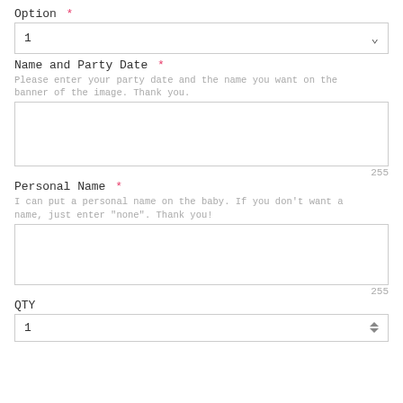Option *
[Figure (screenshot): Dropdown select box showing value '1' with a chevron arrow on the right]
Name and Party Date *
Please enter your party date and the name you want on the banner of the image. Thank you.
[Figure (screenshot): Empty textarea input box for Name and Party Date]
255
Personal Name *
I can put a personal name on the baby. If you don't want a name, just enter "none". Thank you!
[Figure (screenshot): Empty textarea input box for Personal Name]
255
QTY
[Figure (screenshot): Number input box showing value '1' with up/down spinner arrows]